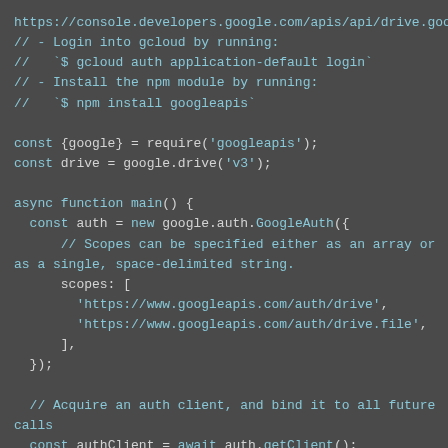Code snippet showing Google Drive API Node.js sample with authentication setup